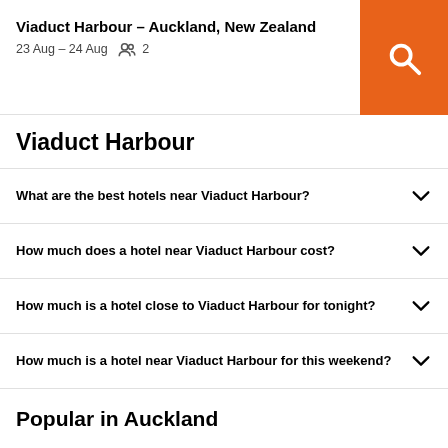Viaduct Harbour – Auckland, New Zealand
23 Aug – 24 Aug  2
Viaduct Harbour
What are the best hotels near Viaduct Harbour?
How much does a hotel near Viaduct Harbour cost?
How much is a hotel close to Viaduct Harbour for tonight?
How much is a hotel near Viaduct Harbour for this weekend?
Popular in Auckland